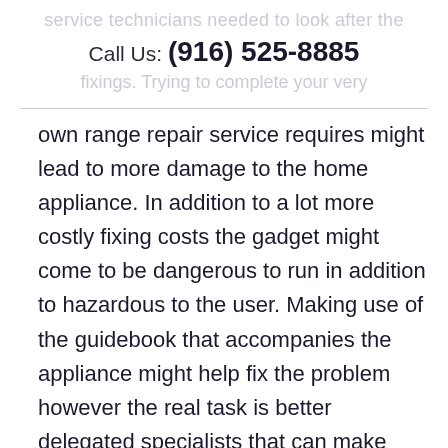Call Us: (916) 525-8885
own range repair service requires might lead to more damage to the home appliance. In addition to a lot more costly fixing costs the gadget might come to be dangerous to run in addition to hazardous to the user. Making use of the guidebook that accompanies the appliance might help fix the problem however the real task is better delegated specialists that can make accurate diagnostic and also fix the issue.